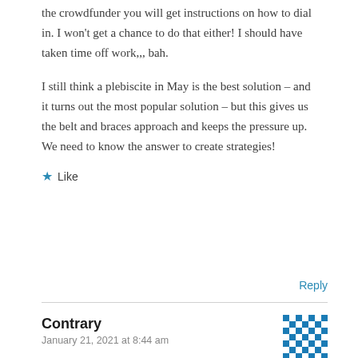the crowdfunder you will get instructions on how to dial in. I won't get a chance to do that either! I should have taken time off work,,, bah.
I still think a plebiscite in May is the best solution – and it turns out the most popular solution – but this gives us the belt and braces approach and keeps the pressure up. We need to know the answer to create strategies!
★ Like
Reply
Contrary
January 21, 2021 at 8:44 am